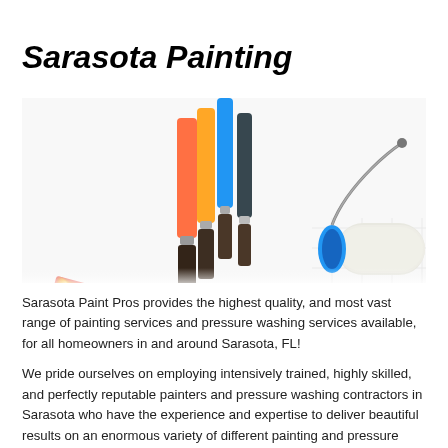Sarasota Painting
[Figure (photo): Paint brushes, a paint roller with blue handle, and a fan of colorful paint swatches spread out on a surface.]
Sarasota Paint Pros provides the highest quality, and most vast range of painting services and pressure washing services available, for all homeowners in and around Sarasota, FL!
We pride ourselves on employing intensively trained, highly skilled, and perfectly reputable painters and pressure washing contractors in Sarasota who have the experience and expertise to deliver beautiful results on an enormous variety of different painting and pressure washing services. We can help with any information any Sarasota painting, Sarasota painters and Sarasota commercial